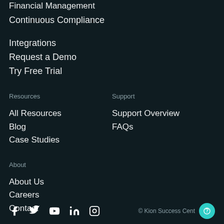Financial Management
Continuous Compliance
Integrations
Request a Demo
Try Free Trial
Resources
Support
All Resources
Support Overview
Blog
FAQs
Case Studies
About
About Us
Careers
Contact
© Kion Success Cent…